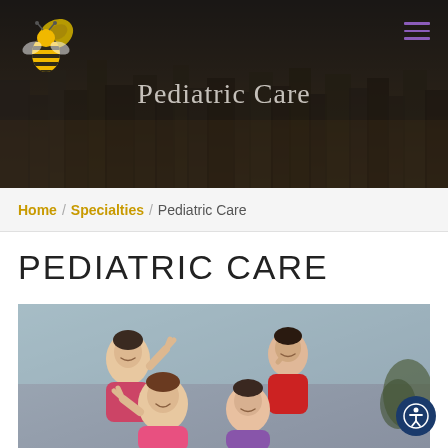[Figure (screenshot): Hero banner with dark city skyline background, bee logo top-left, purple hamburger menu top-right, and 'Pediatric Care' heading centered]
Home / Specialties / Pediatric Care
PEDIATRIC CARE
[Figure (photo): Group of four smiling children posing together outdoors, wearing colorful winter clothes]